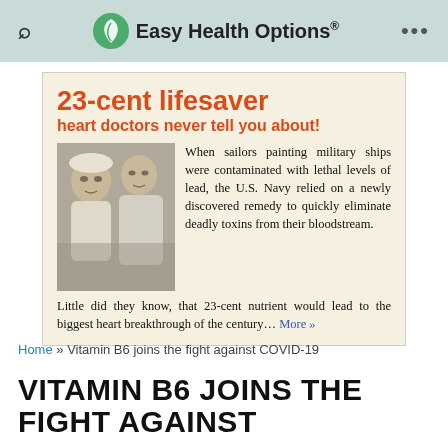Easy Health Options®
[Figure (infographic): Newspaper-style advertisement clipping with headline '23-cent lifesaver heart doctors never tell you about!' in red, with a vintage black-and-white photo of two sailors and article text about U.S. Navy sailors contaminated with lead finding a remedy.]
Home » Vitamin B6 joins the fight against COVID-19
VITAMIN B6 JOINS THE FIGHT AGAINST COVID-19